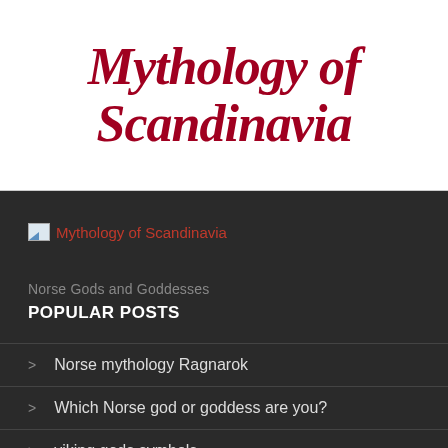Mythology of Scandinavia
[Figure (logo): Broken image icon followed by text 'Mythology of Scandinavia' as a site logo link]
Norse Gods and Goddesses
POPULAR POSTS
> Norse mythology Ragnarok
> Which Norse god or goddess are you?
> viking gods symbols